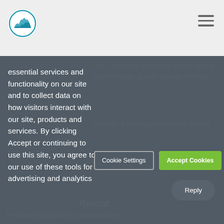[Figure (logo): Circular logo with mountain/landscape icon in teal/blue on white background]
essential services and functionality on our site and to collect data on how visitors interact with our site, products and services. By clicking Accept or continuing to use this site, you agree to our use of these tools for advertising and analytics
Cookie Settings
Accept Cookies
Reply
me. I added a dark color to the theme, and it totally up with no way to reset. esefully a reset option will be added.
Retold
he theme customizer is an awesome addition to the core...